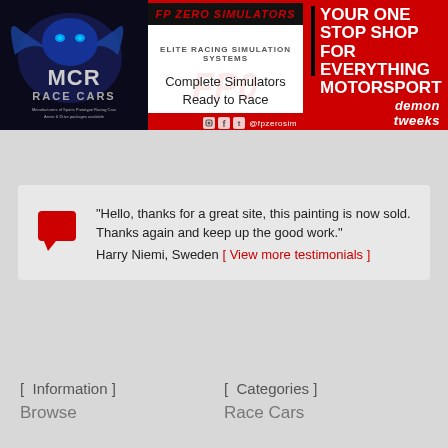[Figure (logo): MCR Race Cars logo with blue dragon on dark background, text 'Manufacturers of Sports Prototype Racing Cars, Arrive & Drive packages available']
[Figure (logo): FP Zero Simulators banner with text 'Complete Simulators Ready to Race' and social media icons]
[Figure (logo): Demon Tweeks red banner with text 'YOUR ONE STOP SHOP FOR EVERYTHING MOTORSPORT']
"Hello, thanks for a great site, this painting is now sold. Thanks again and keep up the good work." Harry Niemi, Sweden [ View more testimonials ]
[ Information ]
Browse
[ Categories ]
Race Cars